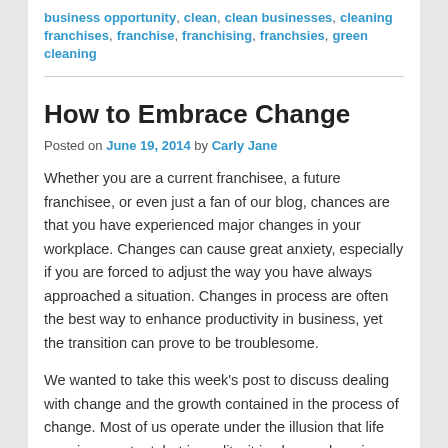business opportunity, clean, clean businesses, cleaning franchises, franchise, franchising, franchsies, green cleaning
How to Embrace Change
Posted on June 19, 2014 by Carly Jane
Whether you are a current franchisee, a future franchisee, or even just a fan of our blog, chances are that you have experienced major changes in your workplace. Changes can cause great anxiety, especially if you are forced to adjust the way you have always approached a situation. Changes in process are often the best way to enhance productivity in business, yet the transition can prove to be troublesome.
We wanted to take this week's post to discuss dealing with change and the growth contained in the process of change. Most of us operate under the illusion that life remains constant, but in reality, it is always changing. Your